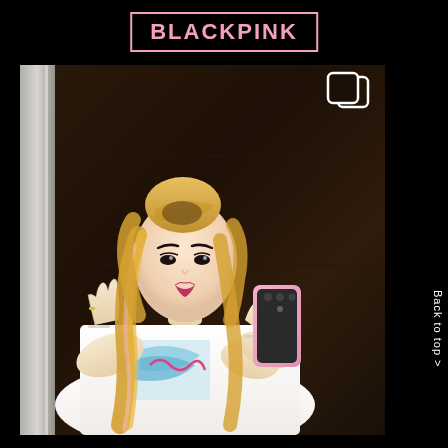BLACKPINK
[Figure (photo): Mirror selfie of a young woman with long blonde hair in a half-up bun, wearing a white graphic t-shirt, holding a pink phone. Set against a dark wood door background. Copy icon in top right of photo. Page has black background.]
Back to top >